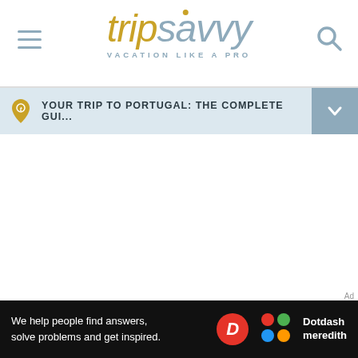tripsavvy VACATION LIKE A PRO
YOUR TRIP TO PORTUGAL: THE COMPLETE GUI...
[Figure (screenshot): White empty content area]
We help people find answers, solve problems and get inspired.
[Figure (logo): Dotdash Meredith logo with D circle and colored dots]